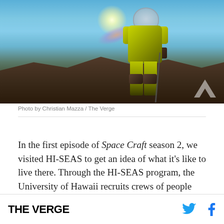[Figure (photo): Person in a yellow spacesuit/EVA suit standing on rocky volcanic terrain under a bright blue sky with sun glare and lens flare visible. A Verge watermark logo appears in the bottom right corner of the image.]
Photo by Christian Mazza / The Verge
In the first episode of Space Craft season 2, we visited HI-SEAS to get an idea of what it's like to live there. Through the HI-SEAS program, the University of Hawaii recruits crews of people from all over the
THE VERGE